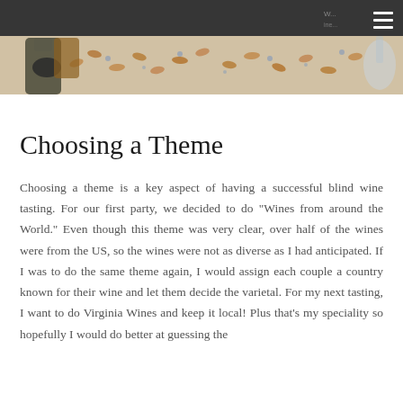[Figure (photo): Header photo showing wine corks scattered on a table with wine bottles, tablecloth with blue floral pattern. Dark navigation bar overlaid at top with hamburger menu icon in top right.]
Choosing a Theme
Choosing a theme is a key aspect of having a successful blind wine tasting. For our first party, we decided to do "Wines from around the World." Even though this theme was very clear, over half of the wines were from the US, so the wines were not as diverse as I had anticipated. If I was to do the same theme again, I would assign each couple a country known for their wine and let them decide the varietal. For my next tasting, I want to do Virginia Wines and keep it local! Plus that's my speciality so hopefully I would do better at guessing the